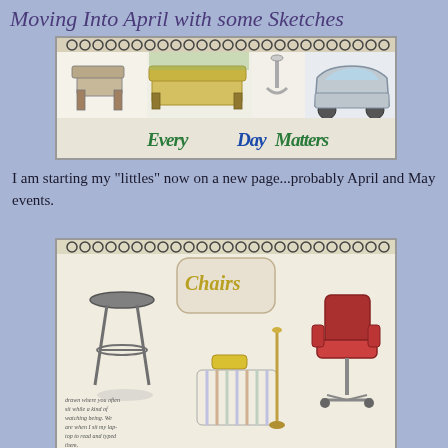Moving Into April with some Sketches
[Figure (illustration): A sketchbook spread showing multiple everyday object sketches including a chair, a yellow couch/sofa, a faucet, and a car, with 'EveryDayMatters' written in stylized graffiti-like lettering at the bottom.]
I am starting my "littles" now on a new page...probably April and May events.
[Figure (illustration): A sketchbook page titled 'Chairs' showing sketches of a tall bar stool, a striped armchair with a yellow cushion and a tall lamp, and a red office chair on wheels. There is handwritten text in the lower left corner.]